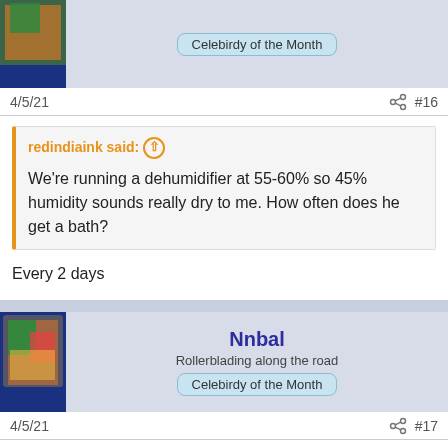[Figure (screenshot): Top partial user header with avatar and Celebirdy of the Month badge]
4/5/21   #16
redindiaink said: We're running a dehumidifier at 55-60% so 45% humidity sounds really dry to me. How often does he get a bath?
Every 2 days
[Figure (screenshot): Nnbal user header with parrot avatar, Rollerblading along the road subtitle, Celebirdy of the Month badge]
4/5/21   #17
New hairs grow on her nose. Is that why he sneezes?
S&B said: